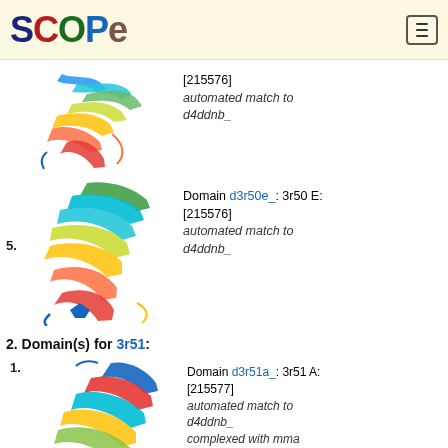SCOPe
[Figure (illustration): Protein ribbon structure for entry 5, d3r50e_, 3r50 E: [215576], colored rainbow from blue to red]
5. Domain d3r50e_: 3r50 E: [215576] automated match to d4ddnb_
2. Domain(s) for 3r51:
[Figure (illustration): Protein ribbon structure for entry 1, d3r51a_, 3r51 A: [215577], complexed with mma]
1. Domain d3r51a_: 3r51 A: [215577] automated match to d4ddnb_ complexed with mma
[Figure (illustration): Protein ribbon structure for entry 2, d3r51b_, 3r51 B: [215578], complexed with mma]
2. Domain d3r51b_: 3r51 B: [215578] automated match to d4ddnb_ complexed with mma